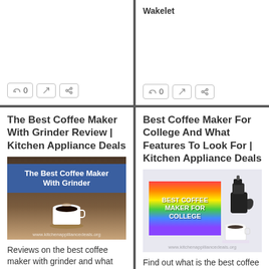[Figure (screenshot): Top-left card showing like/edit/share buttons at bottom]
Wakelet
[Figure (screenshot): Top-right card with Wakelet label and like/expand/share buttons]
The Best Coffee Maker With Grinder Review | Kitchen Appliance Deals
[Figure (photo): Photo of coffee cup with coffee beans and banner reading The Best Coffee Maker With Grinder]
Reviews on the best coffee maker with grinder and what features to look for. Buying guide on what are the best brands and
Best Coffee Maker For College And What Features To Look For | Kitchen Appliance Deals
[Figure (photo): Photo of rainbow-colored Best Coffee Maker For College banner with moka pot and coffee cup]
Find out what is the best coffee maker for college and where you can grab a bargain online. Buying